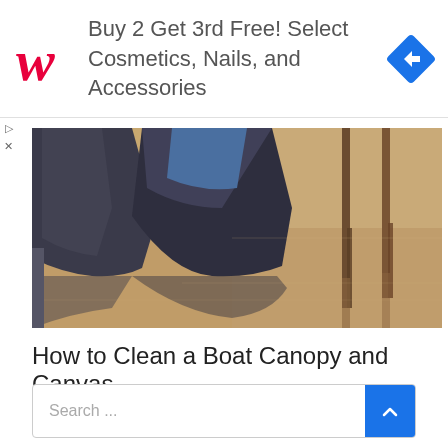[Figure (infographic): Walgreens advertisement banner: red cursive W logo on left, text 'Buy 2 Get 3rd Free! Select Cosmetics, Nails, and Accessories' in gray, blue diamond navigation icon on right]
[Figure (photo): Boats docked at a marina with reflections in calm brownish water, wooden posts visible on the right side]
How to Clean a Boat Canopy and Canvas
Search ...